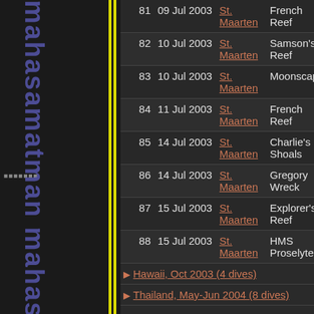| # | Date | Location | Site | Depth |
| --- | --- | --- | --- | --- |
| 81 | 09 Jul 2003 | St. Maarten | French Reef | 28 |
| 82 | 10 Jul 2003 | St. Maarten | Samson's Reef | 48 |
| 83 | 10 Jul 2003 | St. Maarten | Moonscape | 39 |
| 84 | 11 Jul 2003 | St. Maarten | French Reef | 28 |
| 85 | 14 Jul 2003 | St. Maarten | Charlie's Shoals | 55 |
| 86 | 14 Jul 2003 | St. Maarten | Gregory Wreck | 52 |
| 87 | 15 Jul 2003 | St. Maarten | Explorer's Reef | 50 |
| 88 | 15 Jul 2003 | St. Maarten | HMS Proselyte | 48 |
Hawaii, Oct 2003 (4 dives)
Thailand, May-Jun 2004 (8 dives)